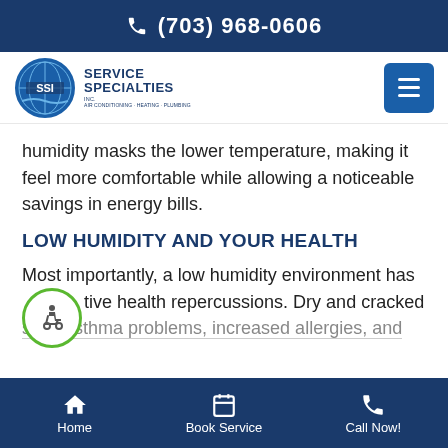(703) 968-0606
[Figure (logo): SSI Service Specialties Inc. logo with circular emblem and company name]
humidity masks the lower temperature, making it feel more comfortable while allowing a noticeable savings in energy bills.
LOW HUMIDITY AND YOUR HEALTH
Most importantly, a low humidity environment has tive health repercussions. Dry and cracked skin, asthma problems, increased allergies, and
Home | Book Service | Call Now!